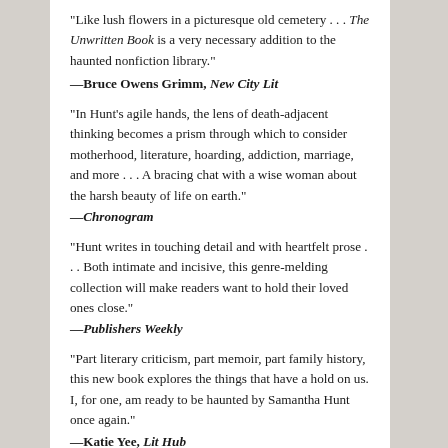“Like lush flowers in a picturesque old cemetery . . . The Unwritten Book is a very necessary addition to the haunted nonfiction library.”
—Bruce Owens Grimm, New City Lit
“In Hunt’s agile hands, the lens of death-adjacent thinking becomes a prism through which to consider motherhood, literature, hoarding, addiction, marriage, and more . . . A bracing chat with a wise woman about the harsh beauty of life on earth.”
—Chronogram
“Hunt writes in touching detail and with heartfelt prose . . . Both intimate and incisive, this genre-melding collection will make readers want to hold their loved ones close.”
—Publishers Weekly
“Part literary criticism, part memoir, part family history, this new book explores the things that have a hold on us. I, for one, am ready to be haunted by Samantha Hunt once again.”
—Katie Yee, Lit Hub